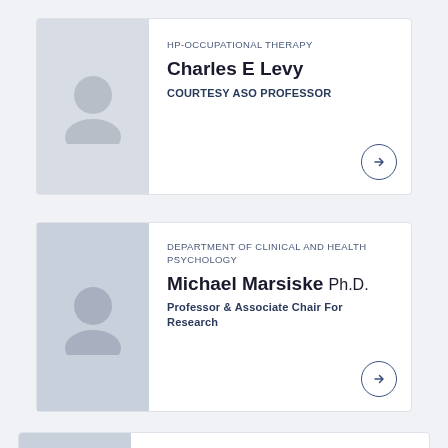[Figure (photo): Placeholder profile photo silhouette for Charles E Levy]
HP-OCCUPATIONAL THERAPY
Charles E Levy
COURTESY ASO PROFESSOR
[Figure (photo): Placeholder profile photo silhouette for Michael Marsiske]
DEPARTMENT OF CLINICAL AND HEALTH PSYCHOLOGY
Michael Marsiske Ph.D.
Professor & Associate Chair For Research
[Figure (photo): Partial placeholder profile photo for third card]
AG-SNRE-ACADEMIC PROGRAMS